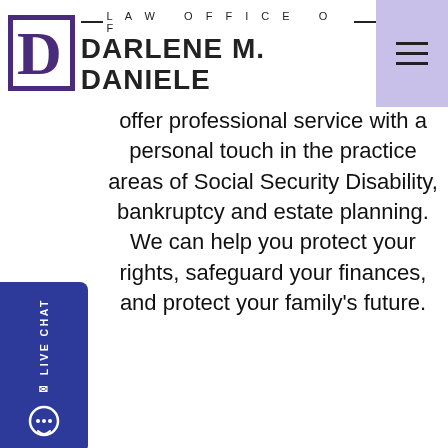LAW OFFICE OF DARLENE M. DANIELE
offer professional service with a personal touch in the practice areas of Social Security Disability, bankruptcy and estate planning. We can help you protect your rights, safeguard your finances, and protect your family's future.
Latest Posts
Will Filing Bankruptcy Affect My Job?